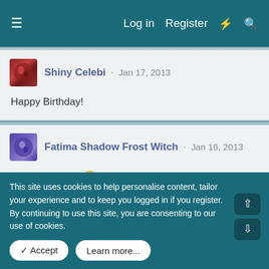Log in   Register
Shiny Celebi · Jan 17, 2013
Happy Birthday!
Fatima Shadow Frost Witch · Jan 16, 2013
Happy Birthday 🙂
RexRacer · Aug 14, 2012
Gone, I haven't been on either. Don't worry about it
This site uses cookies to help personalise content, tailor your experience and to keep you logged in if you register. By continuing to use this site, you are consenting to our use of cookies.